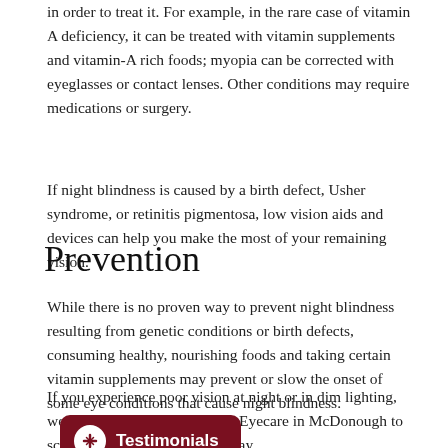in order to treat it. For example, in the rare case of vitamin A deficiency, it can be treated with vitamin supplements and vitamin-A rich foods; myopia can be corrected with eyeglasses or contact lenses. Other conditions may require medications or surgery.
If night blindness is caused by a birth defect, Usher syndrome, or retinitis pigmentosa, low vision aids and devices can help you make the most of your remaining vision.
Prevention
While there is no proven way to prevent night blindness resulting from genetic conditions or birth defects, consuming healthy, nourishing foods and taking certain vitamin supplements may prevent or slow the onset of some eye conditions that cause night blindness.
If you experience poor vision at night or in dim lighting, we can help. Contact Elevated Eyecare in McDonough to schedule your appointment today.
[Figure (other): Dark red rounded button with a white circular icon showing a plus/cross arrow symbol and the text 'Testimonials' in white bold font]